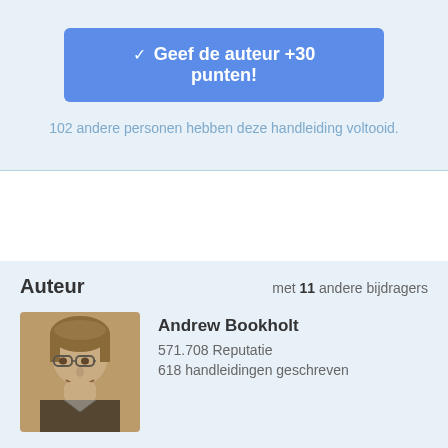Geef de auteur +30 punten!
102 andere personen hebben deze handleiding voltooid.
Auteur
met 11 andere bijdragers
[Figure (photo): Profile photo of Andrew Bookholt, sepia-toned black and white photo of a young man with glasses smiling]
Andrew Bookholt
571.708 Reputatie
618 handleidingen geschreven
[Figure (other): Three circular badge icons at the bottom: blue with figure, teal/blue with globe, red/orange with figure]